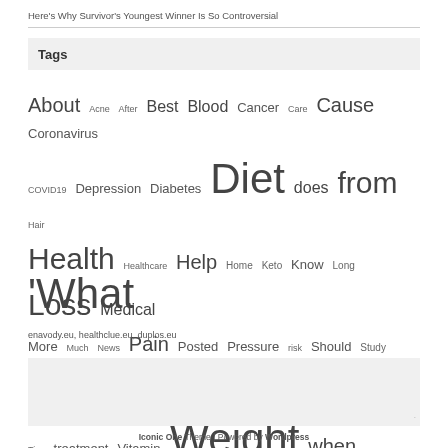Here's Why Survivor's Youngest Winner Is So Controversial
Tags
About Acne After Best Blood Cancer Care Cause Coronavirus COVID19 Depression Diabetes Diet does from Hair Health Healthcare Help Home Keto Know Long Loss Medical More Much News Pain Posted Pressure risk Should Study Take This Tips treatment Vitamin Weight when Where with Yoga 'What
enavody.eu, healthclue.eu, duplos.eu
[Figure (other): Gray advertisement placeholder box]
Iconic One Theme | Powered by Wordpress